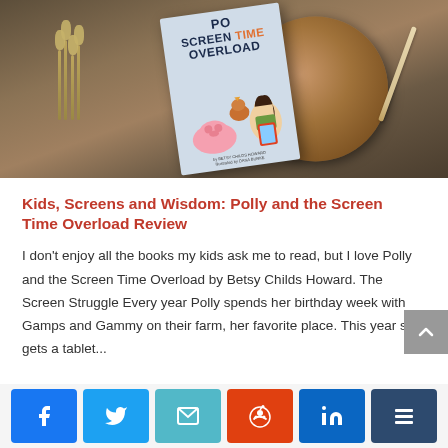[Figure (photo): Photo of a children's book 'Polly Screen Time Overload' by Betsy Childs Howard lying on a wooden board surface with dried flowers and a pencil.]
Kids, Screens and Wisdom: Polly and the Screen Time Overload Review
I don't enjoy all the books my kids ask me to read, but I love Polly and the Screen Time Overload by Betsy Childs Howard. The Screen Struggle Every year Polly spends her birthday week with Gamps and Gammy on their farm, her favorite place. This year she gets a tablet...